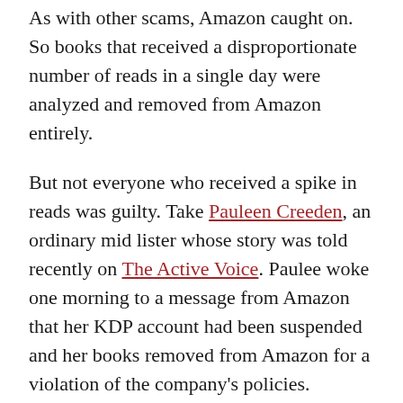As with other scams, Amazon caught on. So books that received a disproportionate number of reads in a single day were analyzed and removed from Amazon entirely.
But not everyone who received a spike in reads was guilty. Take Pauleen Creeden, an ordinary mid lister whose story was told recently on The Active Voice. Paulee woke one morning to a message from Amazon that her KDP account had been suspended and her books removed from Amazon for a violation of the company's policies.
She didn't think she had, but she did see a spike of Kindle Unlimited reads on one day. So she